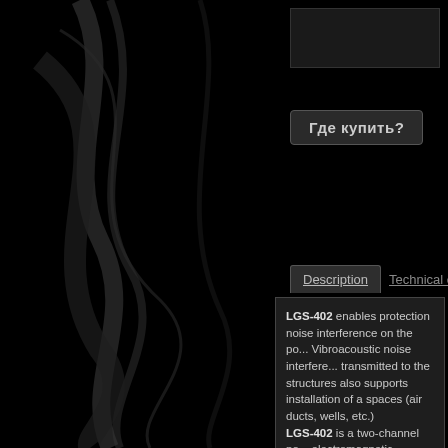[Figure (illustration): Dark webpage screenshot with decorative swirl/wave lines on the left side against black background]
Где купить?
Description | Technical chara...
LGS-402 enables protection noise interference on the po... Vibroacoustic noise interfere... transmitted to the structures also supports installation of a spaces (air ducts, wells, etc.) LGS-402 is a two-channel no... electromagnetic vibration tra... supports parallel or sequenti... vibration transducers and of a overall load impedance woul... connection of up to 8 vibratio...